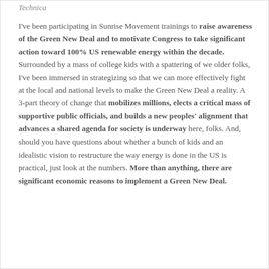Technica
I've been participating in Sunrise Movement trainings to raise awareness of the Green New Deal and to motivate Congress to take significant action toward 100% US renewable energy within the decade. Surrounded by a mass of college kids with a spattering of we older folks, I've been immersed in strategizing so that we can more effectively fight at the local and national levels to make the Green New Deal a reality. A 3-part theory of change that mobilizes millions, elects a critical mass of supportive public officials, and builds a new peoples' alignment that advances a shared agenda for society is underway here, folks. And, should you have questions about whether a bunch of kids and an idealistic vision to restructure the way energy is done in the US is practical, just look at the numbers. More than anything, there are significant economic reasons to implement a Green New Deal.